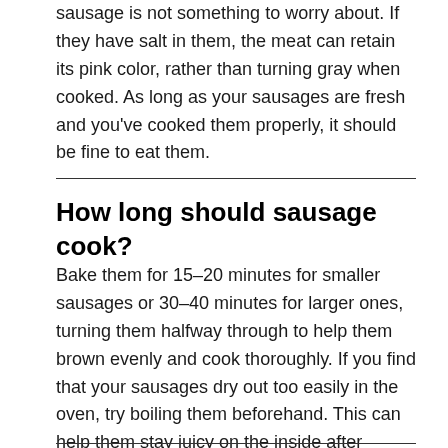sausage is not something to worry about. If they have salt in them, the meat can retain its pink color, rather than turning gray when cooked. As long as your sausages are fresh and you've cooked them properly, it should be fine to eat them.
How long should sausage cook?
Bake them for 15–20 minutes for smaller sausages or 30–40 minutes for larger ones, turning them halfway through to help them brown evenly and cook thoroughly. If you find that your sausages dry out too easily in the oven, try boiling them beforehand. This can help them stay juicy on the inside after cooking.